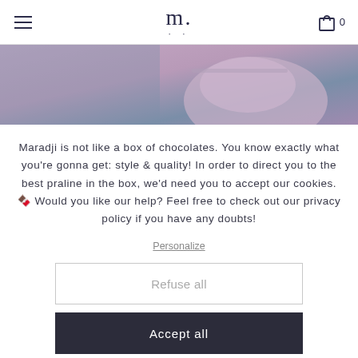m. (logo) — hamburger menu, shopping bag icon with 0
[Figure (photo): Close-up photo of a purple/mauve leather bag or accessory with a rounded flap detail, against a denim blue background]
Maradji is not like a box of chocolates. You know exactly what you’re gonna get: style & quality! In order to direct you to the best praline in the box, we’d need you to accept our cookies. 🍫 Would you like our help? Feel free to check out our privacy policy if you have any doubts!
Personalize
Refuse all
Accept all